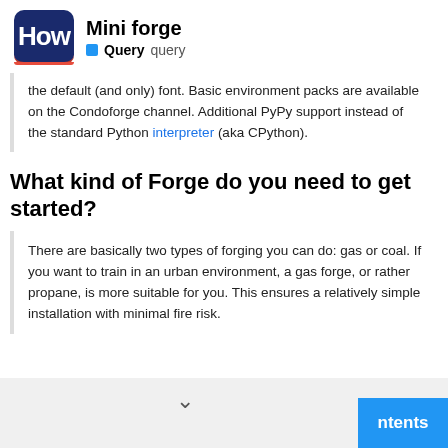Mini forge | Query query
the default (and only) font. Basic environment packs are available on the Condoforge channel. Additional PyPy support instead of the standard Python interpreter (aka CPython).
What kind of Forge do you need to get started?
There are basically two types of forging you can do: gas or coal. If you want to train in an urban environment, a gas forge, or rather propane, is more suitable for you. This ensures a relatively simple installation with minimal fire risk.